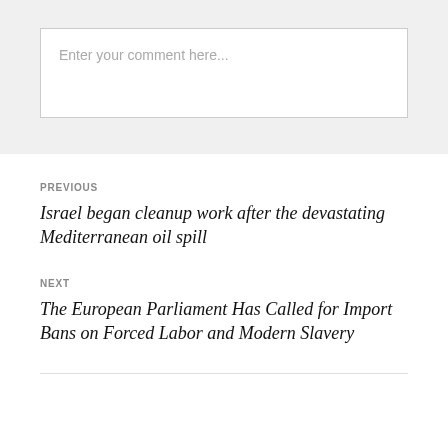Enter your comment here...
PREVIOUS
Israel began cleanup work after the devastating Mediterranean oil spill
NEXT
The European Parliament Has Called for Import Bans on Forced Labor and Modern Slavery